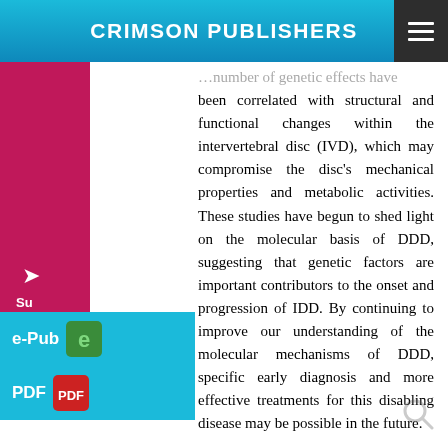CRIMSON PUBLISHERS
number of genetic effects have been correlated with structural and functional changes within the intervertebral disc (IVD), which may compromise the disc's mechanical properties and metabolic activities. These studies have begun to shed light on the molecular basis of DDD, suggesting that genetic factors are important contributors to the onset and progression of IDD. By continuing to improve our understanding of the molecular mechanisms of DDD, specific early diagnosis and more effective treatments for this disabling disease may be possible in the future.